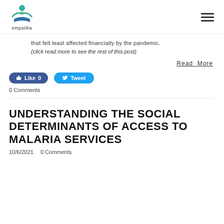empatika
that felt least affected financially by the pandemic.
(click read more to see the rest of this post)
Read More
[Figure (other): Facebook Like button (Like 0) and Twitter Tweet button]
0 Comments
UNDERSTANDING THE SOCIAL DETERMINANTS OF ACCESS TO MALARIA SERVICES
10/6/2021   0 Comments